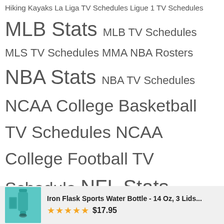Hiking Kayaks La Liga TV Schedules Ligue 1 TV Schedules MLB Stats MLB TV Schedules MLS TV Schedules MMA NBA Rosters NBA Stats NBA TV Schedules NCAA College Basketball TV Schedules NCAA College Football TV Schedule NFL Stats NFL TV Schedules NHL Rosters NHL TV Schedules Paddle Boards Running Serie A TV Schedules Skiing Snowboarding Softball Equipment Sports Surfing
[Figure (other): Advertisement card showing Iron Flask Sports Water Bottle product with teal bottle image, 5-star rating, and price $17.95]